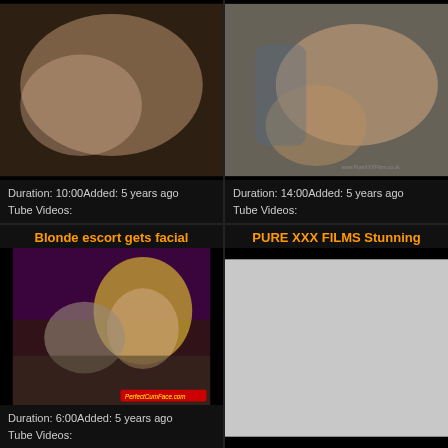[Figure (photo): Video thumbnail top-left: adult content still frame]
Duration: 10:00Added: 5 years ago
Tube Videos:
[Figure (photo): Video thumbnail top-right: adult content still frame with tattooed person]
Duration: 14:00Added: 5 years ago
Tube Videos:
Blonde escort gets facial
[Figure (photo): Video thumbnail bottom-left: adult content still frame with PerfectCumFace.com watermark]
Duration: 6:00Added: 5 years ago
Tube Videos:
PURE XXX FILMS Stunning
[Figure (photo): Video thumbnail bottom-right: loading/blank gray placeholder]